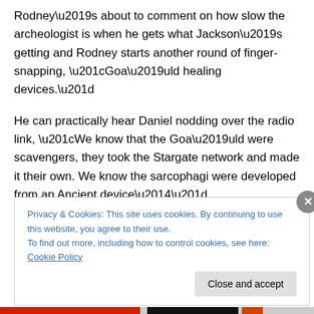Rodney’s about to comment on how slow the archeologist is when he gets what Jackson’s getting and Rodney starts another round of finger-snapping, “Goa’uld healing devices.”
He can practically hear Daniel nodding over the radio link, “We know that the Goa’uld were scavengers, they took the Stargate network and made it their own. We know the sarcophagi were developed from an Ancient device—”
“That cube thingy.”
Privacy & Cookies: This site uses cookies. By continuing to use this website, you agree to their use.
To find out more, including how to control cookies, see here: Cookie Policy